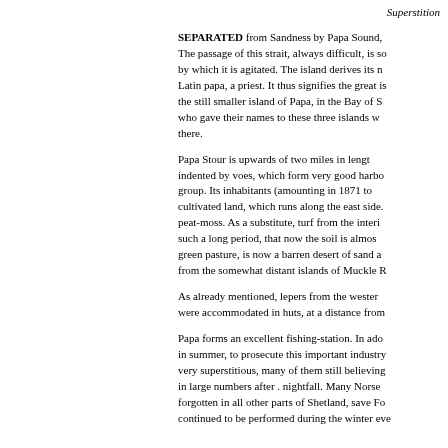Superstition
SEPARATED from Sandness by Papa Sound, The passage of this strait, always difficult, is so by which it is agitated. The island derives its n Latin papa, a priest. It thus signifies the great is the still smaller island of Papa, in the Bay of S who gave their names to these three islands w there.
Papa Stour is upwards of two miles in length indented by voes, which form very good harbo group. Its inhabitants (amounting in 1871 to cultivated land, which runs along the east side. peat-moss. As a substitute, turf from the interi such a long period, that now the soil is almos green pasture, is now a barren desert of sand a from the somewhat distant islands of Muckle R
As already mentioned, lepers from the weste were accommodated in huts, at a distance from
Papa forms an excellent fishing-station. In ado in summer, to prosecute this important industry very superstitious, many of them still believing in large numbers after . nightfall. Many Norse forgotten in all other parts of Shetland, save Fo continued to be performed during the winter eve